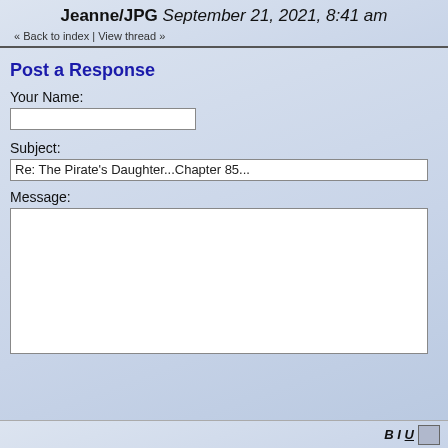Jeanne/JPG September 21, 2021, 8:41 am
« Back to index | View thread »
Post a Response
Your Name:
Subject:
Re: The Pirate's Daughter...Chapter 85...
Message:
B I U ...